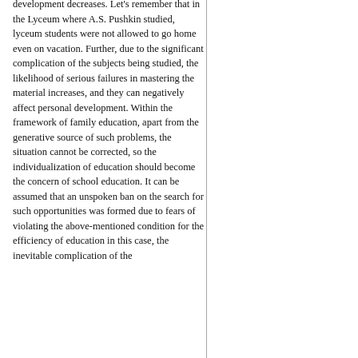development decreases. Let's remember that in the Lyceum where A.S. Pushkin studied, lyceum students were not allowed to go home even on vacation. Further, due to the significant complication of the subjects being studied, the likelihood of serious failures in mastering the material increases, and they can negatively affect personal development. Within the framework of family education, apart from the generative source of such problems, the situation cannot be corrected, so the individualization of education should become the concern of school education. It can be assumed that an unspoken ban on the search for such opportunities was formed due to fears of violating the above-mentioned condition for the efficiency of education in this case, the inevitable complication of the